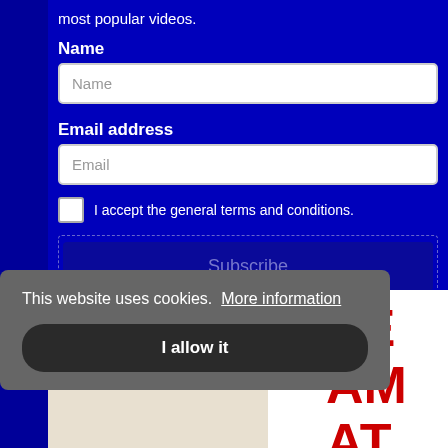most popular videos.
Name
Name
Email address
Email
I accept the general terms and conditions.
Subscribe
[Figure (photo): Two people shown from shoulders up against a white background, with red text letters VE, AM, AT visible on the right side]
This website uses cookies.  More information
I allow it